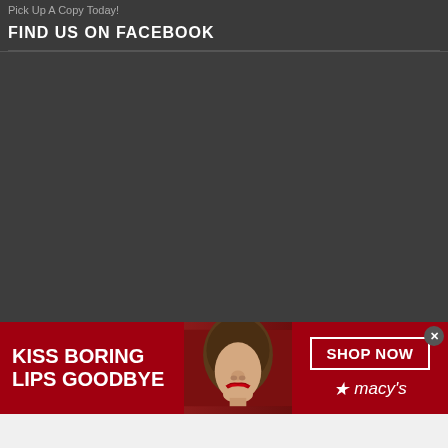Pick Up A Copy Today!
FIND US ON FACEBOOK
[Figure (other): Dark gray empty content area, likely a Facebook widget placeholder]
[Figure (other): Macy's advertisement banner: 'KISS BORING LIPS GOODBYE' with a woman's face and red lipstick, SHOP NOW button and Macy's star logo]